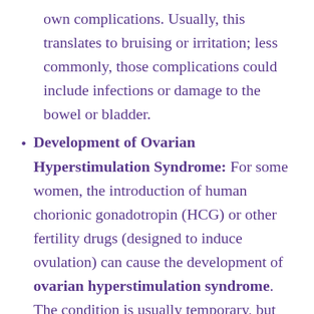own complications. Usually, this translates to bruising or irritation; less commonly, those complications could include infections or damage to the bowel or bladder.
Development of Ovarian Hyperstimulation Syndrome: For some women, the introduction of human chorionic gonadotropin (HCG) or other fertility drugs (designed to induce ovulation) can cause the development of ovarian hyperstimulation syndrome. The condition is usually temporary, but can cause pain or discomfort.
Multiple births: Because of the way that embryos are implanted into the uterus...